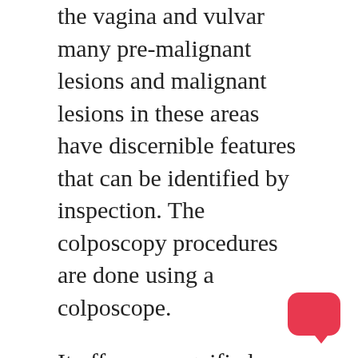the vagina and vulvar many pre-malignant lesions and malignant lesions in these areas have discernible features that can be identified by inspection. The colposcopy procedures are done using a colposcope.
It offers a magnified view of the areas, enabling the colposcopist to visually differentiate normal from unhealthy appearing tissue and to take directed biopsies for further pathological examination. The main objective of colposcopy is to avoid cervical cancer through early diagnosis and treatment of precancerous lesions. The procedure was developed by Hans Hinselmann [de], a German surgeon, with the help of Eduard Wirths. The creation of colposcopy included